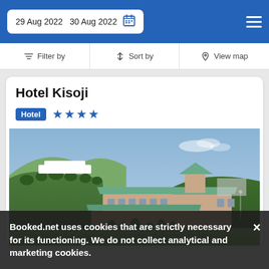29 Aug 2022   30 Aug 2022
Filter by   Sort by   View map
Hotel Kisoji
Hotel ★★★★
[Figure (photo): Exterior photo of Hotel Kisoji showing a multi-story building with a green roof and cupola tower, surrounded by forested hills under a blue sky.]
Booked.net uses cookies that are strictly necessary for its functioning. We do not collect analytical and marketing cookies.